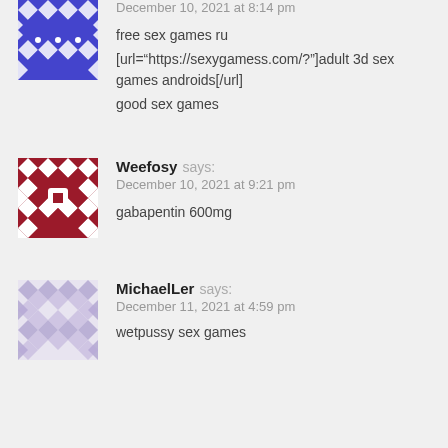[Figure (illustration): Blue/purple geometric quilt pattern avatar]
December 10, 2021 at 8:14 pm
free sex games ru
[url="https://sexygamess.com/?"]adult 3d sex games androids[/url]
good sex games
[Figure (illustration): Red/white geometric quilt pattern avatar for Weefosy]
Weefosy says:
December 10, 2021 at 9:21 pm
gabapentin 600mg
[Figure (illustration): Light purple/lavender geometric quilt pattern avatar for MichaelLer]
MichaelLer says:
December 11, 2021 at 4:59 pm
wetpussy sex games